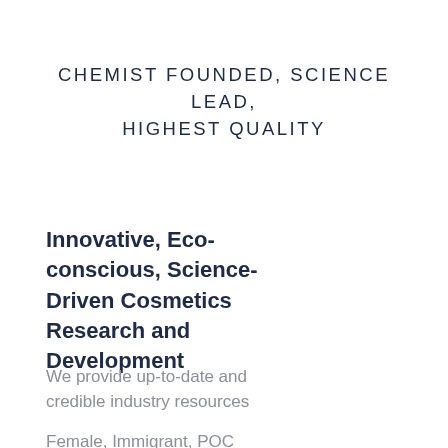CHEMIST FOUNDED, SCIENCE LEAD, HIGHEST QUALITY
Innovative, Eco-conscious, Science-Driven Cosmetics Research and Development
We provide up-to-date and credible industry resources
Female, Immigrant, POC